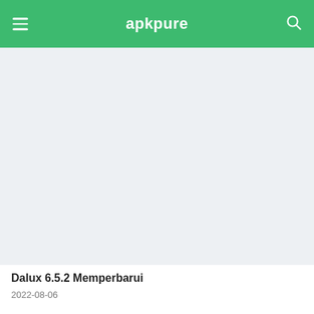apkpure
[Figure (screenshot): Light gray/blue blank content area below the APKPure navigation header]
Dalux 6.5.2 Memperbarui
2022-08-06